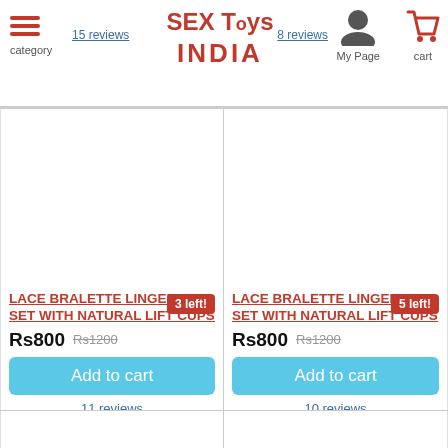SEX Toys INDIA — category, My Page, cart
15 reviews
8 reviews
[Figure (screenshot): Product card left — Lace Bralette Lingerie Set with Natural Lift Cups, 3 left badge, Rs800 / Rs1200, Add to cart button, 11 reviews]
[Figure (screenshot): Product card right — Lace Bralette Lingerie Set with Natural Lift Cups, 5 left badge, Rs800 / Rs1200, Add to cart button, 10 reviews]